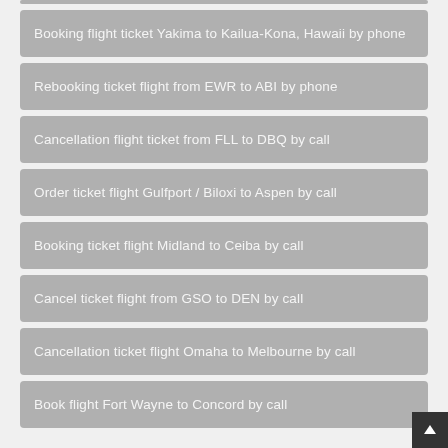Booking flight ticket Yakima to Kailua-Kona, Hawaii by phone
Rebooking ticket flight from EWR to ABI by phone
Cancellation flight ticket from FLL to DBQ by call
Order ticket flight Gulfport / Biloxi to Aspen by call
Booking ticket flight Midland to Ceiba by call
Cancel ticket flight from GSO to DEN by call
Cancellation ticket flight Omaha to Melbourne by call
Book flight Fort Wayne to Concord by call